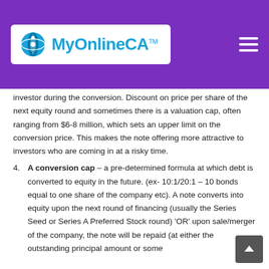MyOnlineCA™
investor during the conversion. Discount on price per share of the next equity round and sometimes there is a valuation cap, often ranging from $6-8 million, which sets an upper limit on the conversion price. This makes the note offering more attractive to investors who are coming in at a risky time.
4. A conversion cap – a pre-determined formula at which debt is converted to equity in the future. (ex- 10:1/20:1 – 10 bonds equal to one share of the company etc). A note converts into equity upon the next round of financing (usually the Series Seed or Series A Preferred Stock round) 'OR' upon sale/merger of the company, the note will be repaid (at either the outstanding principal amount or some